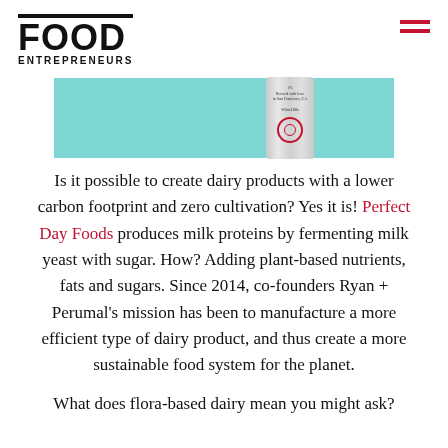FOOD ENTREPRENEURS
[Figure (photo): Teal/mint colored banner image with a silver metallic can product in the center-right, featuring small text and a red circular logo target design.]
Is it possible to create dairy products with a lower carbon footprint and zero cultivation? Yes it is! Perfect Day Foods produces milk proteins by fermenting milk yeast with sugar. How? Adding plant-based nutrients, fats and sugars. Since 2014, co-founders Ryan + Perumal's mission has been to manufacture a more efficient type of dairy product, and thus create a more sustainable food system for the planet.
What does flora-based dairy mean you might ask?